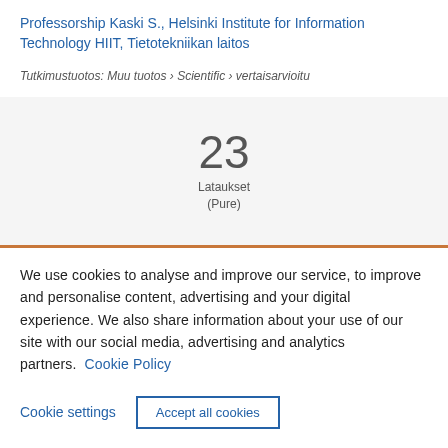Professorship Kaski S., Helsinki Institute for Information Technology HIIT, Tietotekniikan laitos
Tutkimustuotos: Muu tuotos › Scientific › vertaisarvioitu
23
Lataukset
(Pure)
We use cookies to analyse and improve our service, to improve and personalise content, advertising and your digital experience. We also share information about your use of our site with our social media, advertising and analytics partners.  Cookie Policy
Cookie settings    Accept all cookies